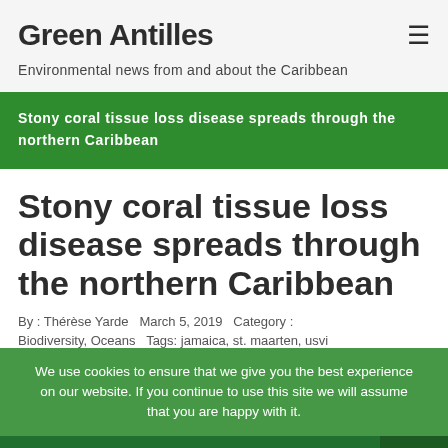Green Antilles
Environmental news from and about the Caribbean
Stony coral tissue loss disease spreads through the northern Caribbean
Stony coral tissue loss disease spreads through the northern Caribbean
By : Thérèse Yarde March 5, 2019 Category :
Biodiversity, Oceans Tags: jamaica, st. maarten, usvi
We use cookies to ensure that we give you the best experience on our website. If you continue to use this site we will assume that you are happy with it.
[Figure (photo): Underwater photo of a coral reef, showing green/teal-toned stony coral formations]